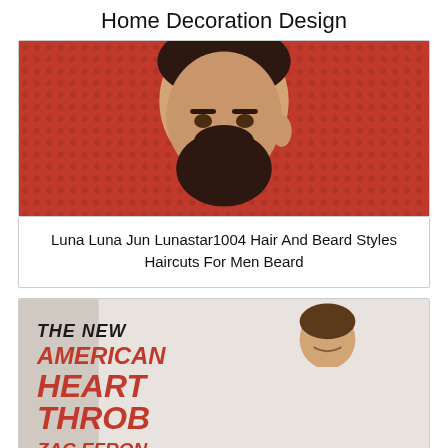Home Decoration Design
[Figure (photo): Close-up photo of a man with dark beard and hair against a red dotted background]
Luna Luna Jun Lunastar1004 Hair And Beard Styles Haircuts For Men Beard
[Figure (photo): Magazine or advertisement image showing text 'THE NEW AMERICAN HEART THROB ZAC EFRON' with a person in background]